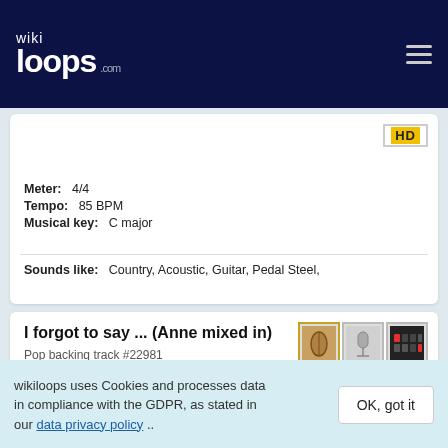wikiloops.com
Meter: 4/4
Tempo: 85 BPM
Musical key: C major
Sounds like: Country, Acoustic, Guitar, Pedal Steel,
I forgot to say ... (Anne mixed in)
Pop backing track #22981
Tempo: 104 BPM
wikiloops uses Cookies and processes data in compliance with the GDPR, as stated in our data privacy policy ..